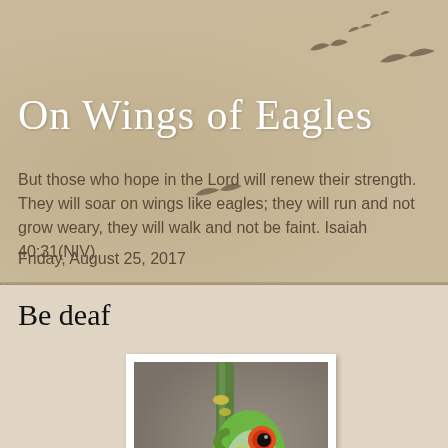On Wings of Eagles
But those who hope in the Lord will renew their strength. They will soar on wings like eagles; they will run and not grow weary, they will walk and not be faint. Isaiah 40:31(NIV)
Friday, August 25, 2017
Be deaf
[Figure (photo): A red-eyed tree frog clinging to a green stem, photographed close-up against a blurred grey-brown background]